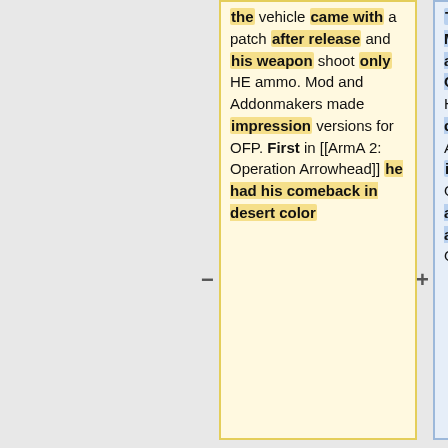the vehicle came with a patch after release and his weapon shoot only HE ammo. Mod and Addonmakers made impression versions for OFP. First in [[ArmA 2: Operation Arrowhead]] he had his comeback in desert color
TOW Anti Tank Guided Missiles. The vehicle first appeared in a patch for OFP and could only shoot HE ammo from the cannon. Mod and Addonmakers made impressive versions for OFP. The Bradley did not appear in BIS games again until [[ArmA 2: Operation Arrowhead]].